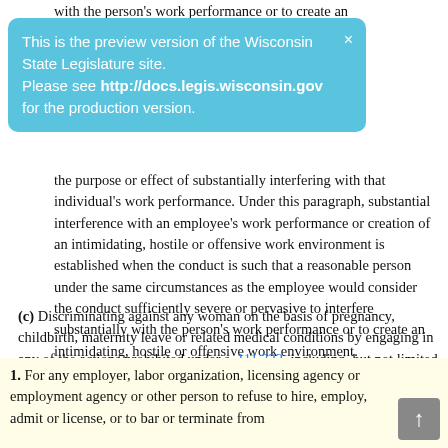with the person's work performance or to create an
[Figure (other): Preview banner: 'This is the preview version of the Wisconsin State Legislature site. Please see http://docs.legis.wisconsin.gov for the production version.' with a close X button]
the purpose or effect of substantially interfering with that individual's work performance. Under this paragraph, substantial interference with an employee's work performance or creation of an intimidating, hostile or offensive work environment is established when the conduct is such that a reasonable person under the same circumstances as the employee would consider the conduct sufficiently severe or pervasive to interfere substantially with the person's work performance or to create an intimidating, hostile or offensive work environment.
(c) Discriminating against any woman on the basis of pregnancy, childbirth, maternity leave or related medical conditions by engaging in any of the actions prohibited under s. 111.322, including, but not limited to, actions concerning fringe benefit programs covering illnesses and disability.
(d)
1. For any employer, labor organization, licensing agency or employment agency or other person to refuse to hire, employ, admit or license, or to bar or terminate from